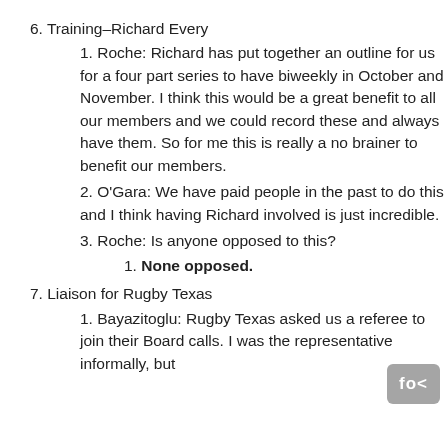6. Training–Richard Every
1. Roche: Richard has put together an outline for us for a four part series to have biweekly in October and November. I think this would be a great benefit to all our members and we could record these and always have them. So for me this is really a no brainer to benefit our members.
2. O'Gara: We have paid people in the past to do this and I think having Richard involved is just incredible.
3. Roche: Is anyone opposed to this?
1. None opposed.
7. Liaison for Rugby Texas
1. Bayazitoglu: Rugby Texas asked us a referee to join their Board calls. I was the representative informally, but